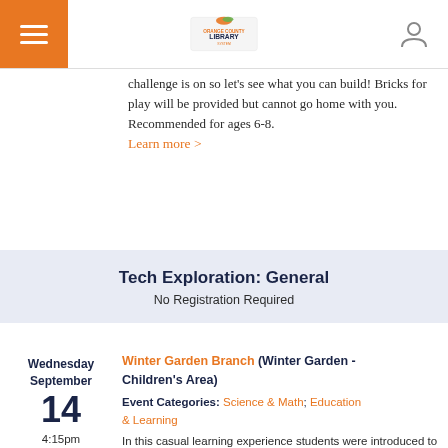Orange County Library System — navigation header
challenge is on so let's see what you can build! Bricks for play will be provided but cannot go home with you. Recommended for ages 6-8. Learn more >
Tech Exploration: General
No Registration Required
Wednesday September 14 4:15pm — Winter Garden Branch (Winter Garden - Children's Area) Event Categories: Science & Math; Education & Learning — In this casual learning experience students were introduced to a variety of resources available at their library. Learn more >